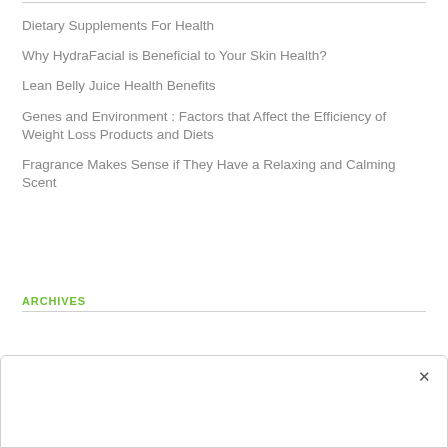Dietary Supplements For Health
Why HydraFacial is Beneficial to Your Skin Health?
Lean Belly Juice Health Benefits
Genes and Environment : Factors that Affect the Efficiency of Weight Loss Products and Diets
Fragrance Makes Sense if They Have a Relaxing and Calming Scent
ARCHIVES